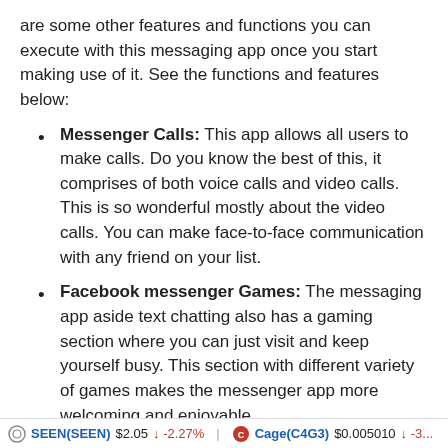are some other features and functions you can execute with this messaging app once you start making use of it. See the functions and features below:
Messenger Calls: This app allows all users to make calls. Do you know the best of this, it comprises of both voice calls and video calls. This is so wonderful mostly about the video calls. You can make face-to-face communication with any friend on your list.
Facebook messenger Games: The messaging app aside text chatting also has a gaming section where you can just visit and keep yourself busy. This section with different variety of games makes the messenger app more welcoming and enjoyable.
Location sharing: With this instant messaging app, it
SEEN(SEEN) $2.05 ↓ -2.27%    Cage(C4G3) $0.005010 ↓ -3...